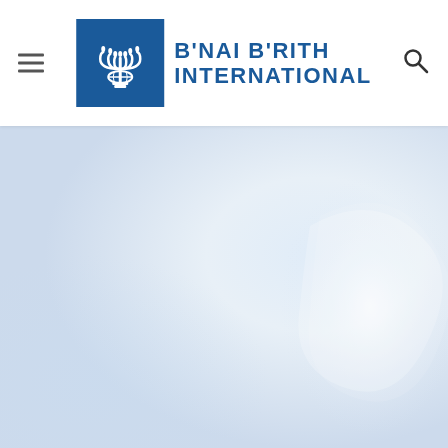B'NAI B'RITH INTERNATIONAL
[Figure (photo): Faded light blue-grey hero background image, appears to show a faint abstract or figure in soft white and grey tones on the right side, resembling fabric or a dove in flight]